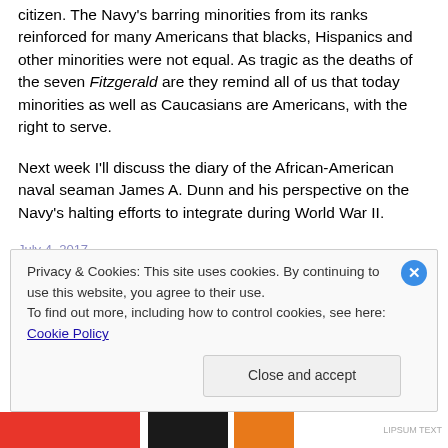citizen. The Navy's barring minorities from its ranks reinforced for many Americans that blacks, Hispanics and other minorities were not equal. As tragic as the deaths of the seven Fitzgerald are they remind all of us that today minorities as well as Caucasians are Americans, with the right to serve.
Next week I'll discuss the diary of the African-American naval seaman James A. Dunn and his perspective on the Navy's halting efforts to integrate during World War II.
Privacy & Cookies: This site uses cookies. By continuing to use this website, you agree to their use.
To find out more, including how to control cookies, see here: Cookie Policy